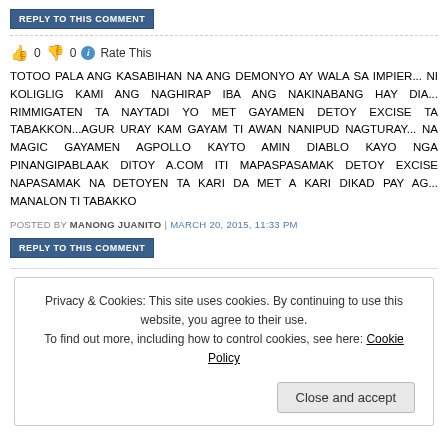REPLY TO THIS COMMENT
👍 0 👎 0 ℹ Rate This
TOTOO PALA ANG KASABIHAN NA ANG DEMONYO AY WALA SA IMPIER... NI KOLIGLIG KAMI ANG NAGHIRAP IBA ANG NAKINABANG HAY DIA... RIMMIGATEN TA NAYTADI YO MET GAYAMEN DETOY EXCISE TA TABAKKON...AGUR URAY KAM GAYAM TI AWAN NANIPUD NAGTURAY... NA MAGIC GAYAMEN AGPOLLO KAYTO AMIN DIABLO KAYO NGA PINANGIPABLAAK DITOY A.COM ITI MAPASPASAMAK DETOY EXCISE NAPASAMAK NA DETOYEN TA KARI DA MET A KARI DIKAD PAY AG... MANALON TI TABAKKO
POSTED BY MANONG JUANITO | MARCH 20, 2015, 11:33 PM
REPLY TO THIS COMMENT
Privacy & Cookies: This site uses cookies. By continuing to use this website, you agree to their use. To find out more, including how to control cookies, see here: Cookie Policy
Close and accept